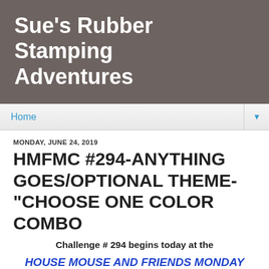Sue's Rubber Stamping Adventures
Home
MONDAY, JUNE 24, 2019
HMFMC #294-ANYTHING GOES/OPTIONAL THEME-"CHOOSE ONE COLOR COMBO
Challenge # 294 begins today at the
HOUSE MOUSE AND FRIENDS MONDAY CHALLENGE
Our talented teammate and Hostess is KARIN for this